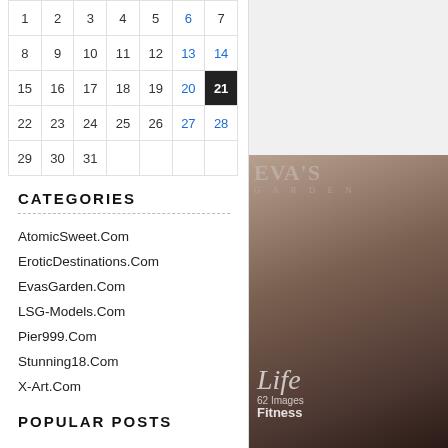| 1 | 2 | 3 | 4 | 5 | 6 | 7 |
| 8 | 9 | 10 | 11 | 12 | 13 | 14 |
| 15 | 16 | 17 | 18 | 19 | 20 | 21 |
| 22 | 23 | 24 | 25 | 26 | 27 | 28 |
| 29 | 30 | 31 |  |  |  |  |
CATEGORIES
AtomicSweet.Com
EroticDestinations.Com
EvasGarden.Com
LSG-Models.Com
Pier999.Com
Stunning18.Com
X-Art.Com
POPULAR POSTS
[Figure (photo): Eva's Garden magazine cover showing a fitness themed photo with script title 'Life' and subtitle 'Fitness', 62 images noted]